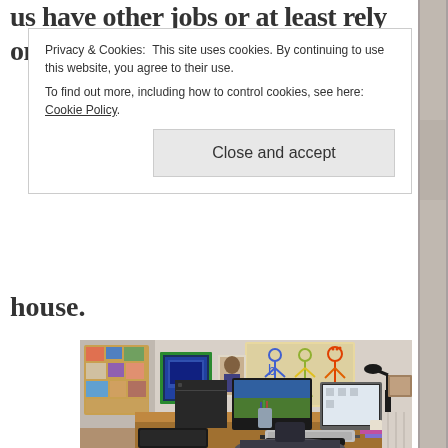us have other jobs or at least rely on teaching and
Privacy & Cookies: This site uses cookies. By continuing to use this website, you agree to their use.
To find out more, including how to control cookies, see here: Cookie Policy.
Close and accept
house.
[Figure (photo): A home office with a wooden desk, two computer monitors, a desk lamp, keyboard, and various items. On the wall behind are posters and children's artwork showing colorful stick figures. A cork board with photos is visible on the left wall. An office chair is in front of the desk.]